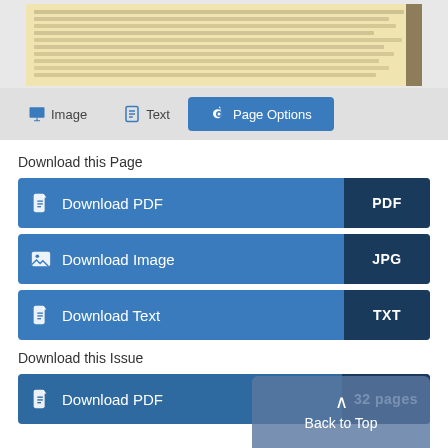[Figure (screenshot): Scanned historical document image shown at top of page, yellowish/aged paper with handwritten or printed text, partially blurred]
Image
Text
Page Options
Download this Page
Download PDF
PDF
Download Image
JPG
Download Text
TXT
Download this Issue
Download PDF
Back to Top
32 pages